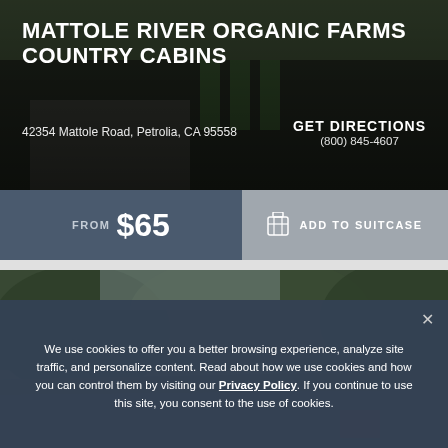[Figure (photo): Outdoor photo of Mattole River Organic Farms Country Cabins with dark overlay showing building exterior and green foliage]
MATTOLE RIVER ORGANIC FARMS COUNTRY CABINS
42354 Mattole Road, Petrolia, CA 95558
GET DIRECTIONS
(800) 845-4607
FROM $65   ADD TO SUITCASE
[Figure (photo): Exterior photo of a cabin building with dark shingled roof surrounded by green trees]
We use cookies to offer you a better browsing experience, analyze site traffic, and personalize content. Read about how we use cookies and how you can control them by visiting our Privacy Policy. If you continue to use this site, you consent to the use of cookies.